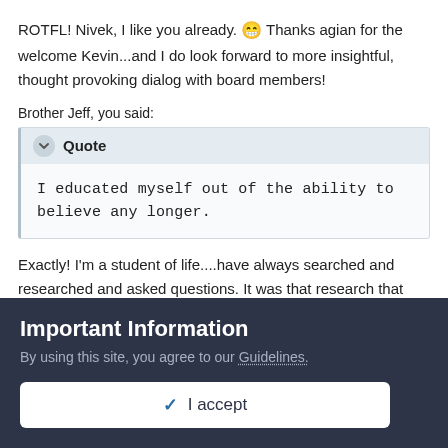ROTFL! Nivek, I like you already. 😁 Thanks agian for the welcome Kevin...and I do look forward to more insightful, thought provoking dialog with board members!
Brother Jeff, you said:
Quote — I educated myself out of the ability to believe any longer.
Exactly! I'm a student of life....have always searched and researched and asked questions. It was that research that prompted my beliefs to fall away, revealing, simply, a core human...scary stuff, but inevitable for me...no matter how hard I tried to fight it.
Important Information
By using this site, you agree to our Guidelines.
✓ I accept